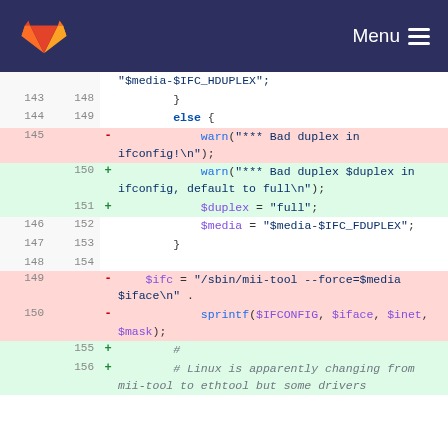GitLab — Menu
[Figure (screenshot): Code diff view showing changes to a shell script. Lines 143-154 show neutral context with removed lines 145, 149, 150 (pink background) and added lines 150, 151, 155, 156 (green background). The code involves duplex media settings and mii-tool commands.]